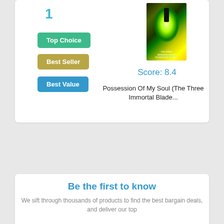1
Top Choice
Best Seller
Best Value
[Figure (photo): Book cover for Possession Of My Soul (The Three Immortal Blade...) showing a glowing green/yellow vortex with a silhouetted figure]
Score: 8.4
Possession Of My Soul (The Three Immortal Blade...
Be the first to know
We sift through thousands of products to find the best bargain deals, and deliver our top